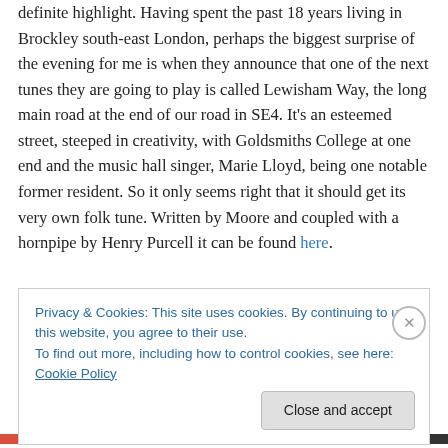definite highlight. Having spent the past 18 years living in Brockley south-east London, perhaps the biggest surprise of the evening for me is when they announce that one of the next tunes they are going to play is called Lewisham Way, the long main road at the end of our road in SE4. It's an esteemed street, steeped in creativity, with Goldsmiths College at one end and the music hall singer, Marie Lloyd, being one notable former resident. So it only seems right that it should get its very own folk tune. Written by Moore and coupled with a hornpipe by Henry Purcell it can be found here.
Privacy & Cookies: This site uses cookies. By continuing to use this website, you agree to their use.
To find out more, including how to control cookies, see here: Cookie Policy